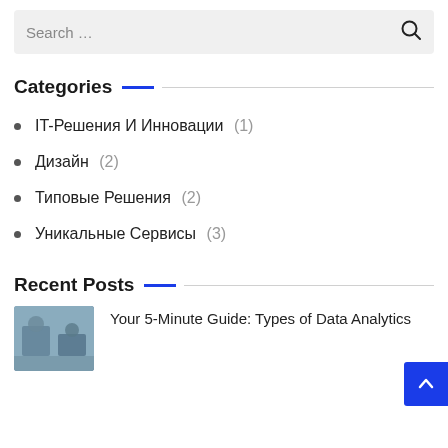Search …
Categories
IT-Решения И Инновации (1)
Дизайн (2)
Типовые Решения (2)
Уникальные Сервисы (3)
Recent Posts
Your 5-Minute Guide: Types of Data Analytics